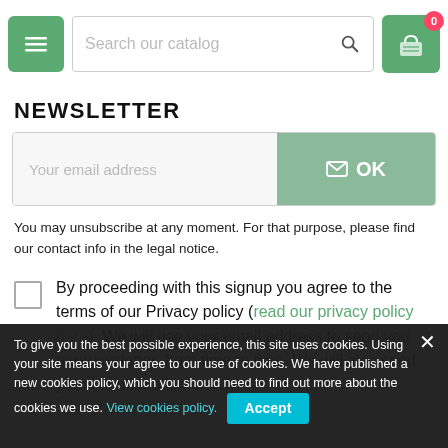Search our catalog | 0
NEWSLETTER
Your email address
OK
You may unsubscribe at any moment. For that purpose, please find our contact info in the legal notice.
By proceeding with this signup you agree to the terms of our Privacy policy (read our privacy policy here). We will use your email address to send you our newsletter, from time to time. We will also send you a confirmation email.
> Terms and conditions of use
> About us
> Cookies policy
> Privacy Policy
To give you the best possible experience, this site uses cookies. Using your site means your agree to our use of cookies. We have published a new cookies policy, which you should need to find out more about the cookies we use. View cookies policy. Accept